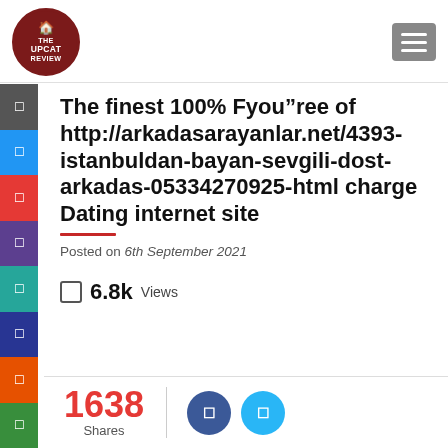[Figure (logo): The UPCAT Review circular logo with dark red background and white house icon]
The finest 100% Fyou"ree of http://arkadasarayanlar.net/4393-istanbuldan-bayan-sevgili-dost-arkadas-05334270925-html charge Dating internet site
Posted on 6th September 2021
6.8k Views
1638 Shares